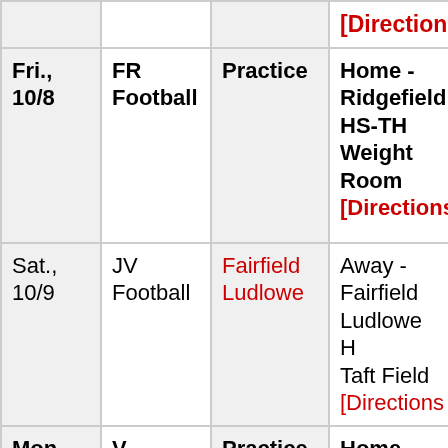| Date | Team | Opponent | Location |
| --- | --- | --- | --- |
|  |  |  | [Directions] |
| Fri., 10/8 | FR Football | Practice | Home - Ridgefield HS-TH Weight Room [Directions] |
| Sat., 10/9 | JV Football | Fairfield Ludlowe | Away - Fairfield Ludlowe H Taft Field [Directions] |
| Mon., 10/11 | V Football | Practice | Home - Ridgefield HS-Tiger Hollow T... |